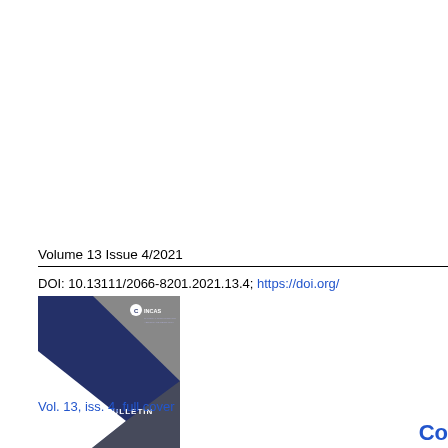Volume 13 Issue 4/2021
DOI: 10.13111/2066-8201.2021.13.4; https://doi.org/
[Figure (photo): Cover image of INCAS Bulletin Volume 13 Issue 4, showing a dark navy blue geometric design with white and grey triangles and the INCAS logo at the top right.]
Vol. 13, iss. 4, full cover
Co